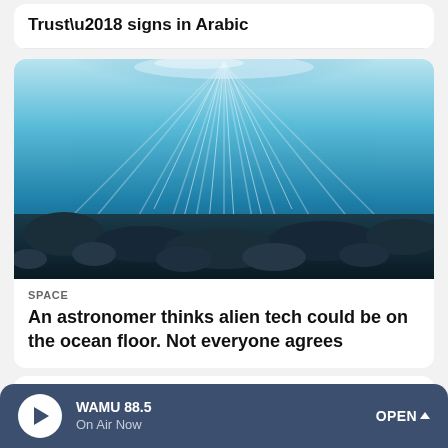Trust’ signs in Arabic
[Figure (photo): Underwater ocean scene with sunlight rays piercing through the water surface illuminating a rocky seafloor]
SPACE
An astronomer thinks alien tech could be on the ocean floor. Not everyone agrees
WAMU 88.5 On Air Now OPEN ∧